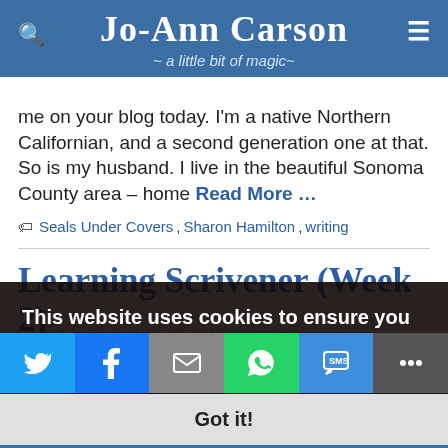Jo-Ann Carson ~ a little bit of magic~
me on your blog today. I'm a native Northern Californian, and a second generation one at that. So is my husband. I live in the beautiful Sonoma County area – home Read More …
Seals Under Covers, Sharon Hamilton, writing
Learning Scrivener (Week 2)
Posted on September 25, 2013 · Leave a comment
This week I'm continuing my exploration of Scrivener, a powerful word processor for writers … this week we've covered more about the inspector (i.e., the third section on the far right of the screen that Read More …
Gwen Hernandez, Scrivener, writing
This website uses cookies to ensure you get the best experience on our website. Learn more
Got it!
Joanie Guidocels – Between